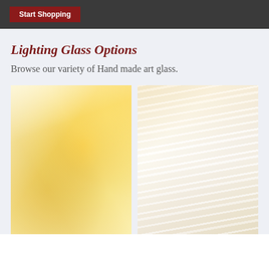Start Shopping
Lighting Glass Options
Browse our variety of Hand made art glass.
[Figure (photo): Close-up photo of amber/yellow hand made art glass with warm golden tones and translucent swirling texture]
[Figure (photo): Close-up photo of white/cream hand made art glass with soft streaky fibrous texture and subtle warm undertones]